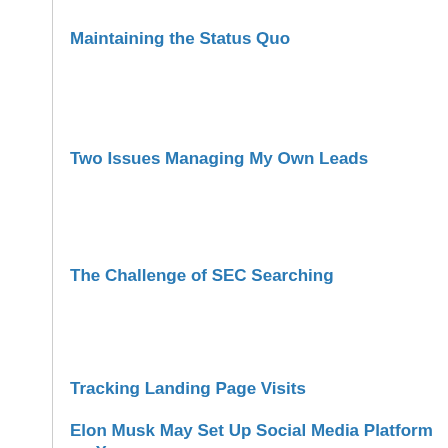Maintaining the Status Quo
Two Issues Managing My Own Leads
The Challenge of SEC Searching
Tracking Landing Page Visits
Elon Musk May Set Up Social Media Platform on X.com